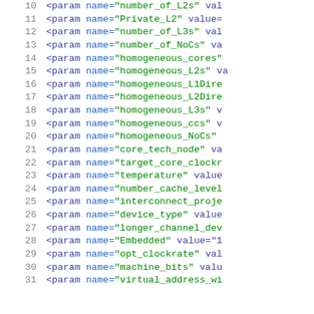Code listing lines 10-31 showing XML param elements with name attributes including number_of_L2s, Private_L2, number_of_L3s, number_of_NoCs, homogeneous_cores, homogeneous_L2s, homogeneous_L1Direc, homogeneous_L2Direc, homogeneous_L3s, homogeneous_ccs, homogeneous_NoCs, core_tech_node, target_core_clockr, temperature, number_cache_levels, interconnect_proje, device_type, longer_channel_dev, Embedded, opt_clockrate, machine_bits, virtual_address_wi